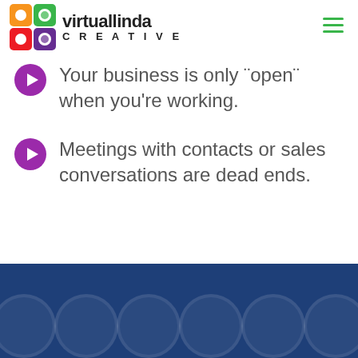[Figure (logo): virtuallinda CREATIVE logo with colored squares grid and brand name]
Your business is only "open" when you're working.
Meetings with contacts or sales conversations are dead ends.
[Figure (illustration): Dark blue footer band with decorative circle outlines]